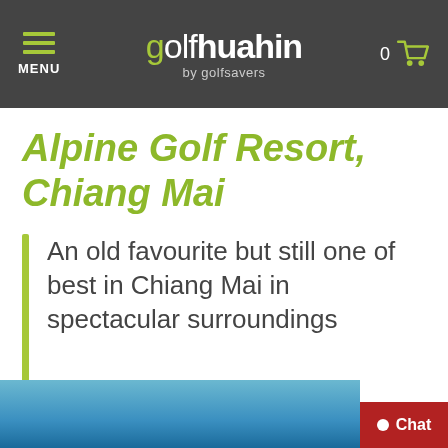MENU | golfhuahin by golfsavers | 0
Alpine Golf Resort, Chiang Mai
An old favourite but still one of best in Chiang Mai in spectacular surroundings
[Figure (photo): Blue sky / golf course photo at bottom of page]
Chat